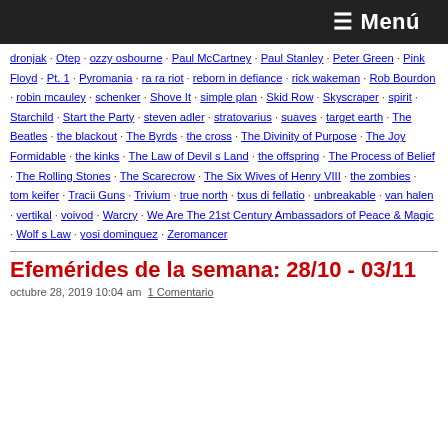≡ Menú
dronjak · Otep · ozzy osbourne · Paul McCartney · Paul Stanley · Peter Green · Pink Floyd · Pt. 1 · Pyromania · ra ra riot · reborn in defiance · rick wakeman · Rob Bourdon · robin mcauley · schenker · Shove It · simple plan · Skid Row · Skyscraper · spirit · Starchild · Start the Party · steven adler · stratovarius · suaves · target earth · The Beatles · the blackout · The Byrds · the cross · The Divinity of Purpose · The Joy Formidable · the kinks · The Law of Devil s Land · the offspring · The Process of Belief · The Rolling Stones · The Scarecrow · The Six Wives of Henry VIII · the zombies · tom keifer · Tracii Guns · Trivium · true north · txus di fellatio · unbreakable · van halen · vertikal · voivod · Warcry · We Are The 21st Century Ambassadors of Peace & Magic · Wolf s Law · yosi dominguez · Zeromancer
Efemérides de la semana: 28/10 - 03/11
octubre 28, 2019 10:04 am  1 Comentario